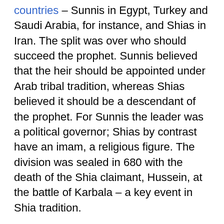countries – Sunnis in Egypt, Turkey and Saudi Arabia, for instance, and Shias in Iran. The split was over who should succeed the prophet. Sunnis believed that the heir should be appointed under Arab tribal tradition, whereas Shias believed it should be a descendant of the prophet. For Sunnis the leader was a political governor; Shias by contrast have an imam, a religious figure. The division was sealed in 680 with the death of the Shia claimant, Hussein, at the battle of Karbala – a key event in Shia tradition.
Does this really matter?